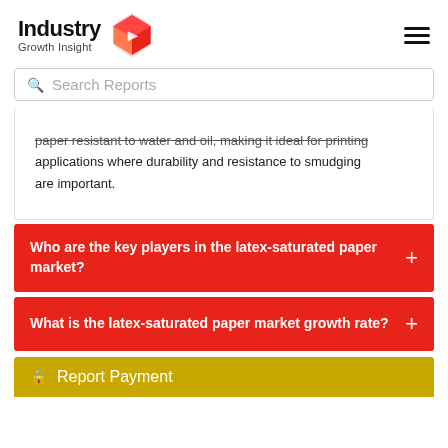Industry Growth Insight
Search Reports
paper resistant to water and oil, making it ideal for printing applications where durability and resistance to smudging are important.
Who are the key players in the latex-saturated paper market?
What is the latex-saturated paper market growth rate?
Report Payment